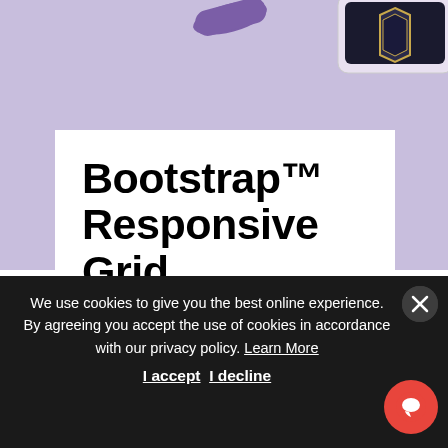[Figure (illustration): Purple/lavender background with partial device illustrations at top — a purple stylus/pen shape on the left and a tablet/device corner on the right]
Bootstrap™ Responsive Grid
Ark contains
We use cookies to give you the best online experience. By agreeing you accept the use of cookies in accordance with our privacy policy. Learn More
I accept  I decline